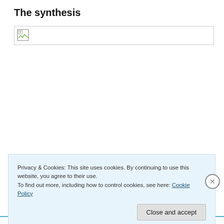The synthesis
[Figure (other): Broken/unloaded image placeholder with a small image icon in the top-left corner, inside a bordered rectangle]
Privacy & Cookies: This site uses cookies. By continuing to use this website, you agree to their use.
To find out more, including how to control cookies, see here: Cookie Policy
Close and accept